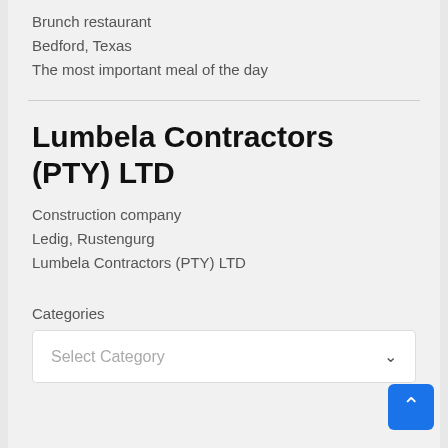Brunch restaurant
Bedford, Texas
The most important meal of the day
Lumbela Contractors (PTY) LTD
Construction company
Ledig, Rustengurg
Lumbela Contractors (PTY) LTD
Categories
Select Category